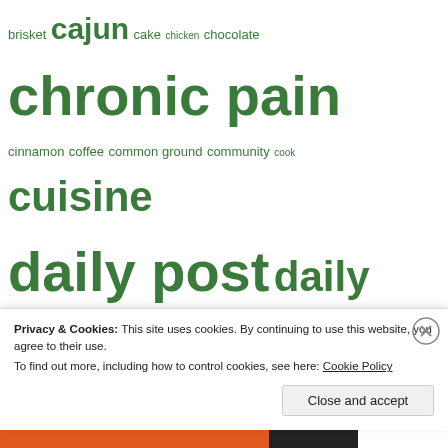[Figure (other): Tag cloud of food, religion, and social topics in various green font sizes, partially obscured by a cookie consent banner at the bottom. Tags include: brisket, cajun, cake, chicken, chocolate, chronic pain, cinnamon, coffee, common ground, community, cook, cuisine, daily post, daily prompt, dessert, deviled eggs, disaster relief, Down Home, DPChallenge, eggs, Fallacy, food, fried chicken, garlic, God, Gospel, gravy, gumbo, Gus's World Famous, Haiti, homosexuality, Honduras, horseradish, hot meal, Humira, IBQ, jambalaya, Jesus, Jesus Christ, Joel Osteen, John 14:6, koinonia, LGBT, Louisiana, lunch, maillard reaction, mayonnaise, meatloaf, mercy chefs, Mezzetta, name, New Orleans, pancakes, pecans, peperoncini, pinto beans, pork loin, postmodern, post modern, potato salad, prison, prompt, prosperity gospel, pulled pork, Radio, relativism, remoulade, restaurant, rheumatoid arthritis, rheumatologist, sandwich, sausage, Shreveport]
Privacy & Cookies: This site uses cookies. By continuing to use this website, you agree to their use. To find out more, including how to control cookies, see here: Cookie Policy
Close and accept